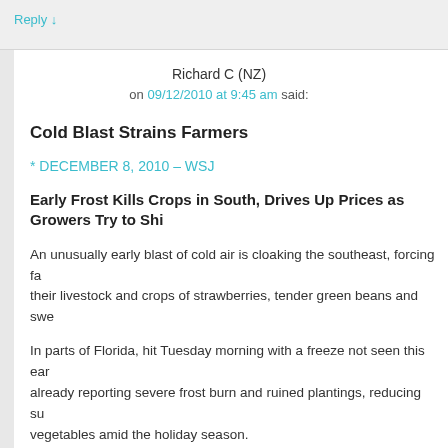Reply ↓
Richard C (NZ)
on 09/12/2010 at 9:45 am said:
Cold Blast Strains Farmers
* DECEMBER 8, 2010 – WSJ
Early Frost Kills Crops in South, Drives Up Prices as Growers Try to Shi…
An unusually early blast of cold air is cloaking the southeast, forcing fa… their livestock and crops of strawberries, tender green beans and swe…
In parts of Florida, hit Tuesday morning with a freeze not seen this ear… already reporting severe frost burn and ruined plantings, reducing su… vegetables amid the holiday season.
Florida growers endured a freeze and difficult spell of weather in Janu… unfortunate because we are gearing up to put vegetables out for peo…